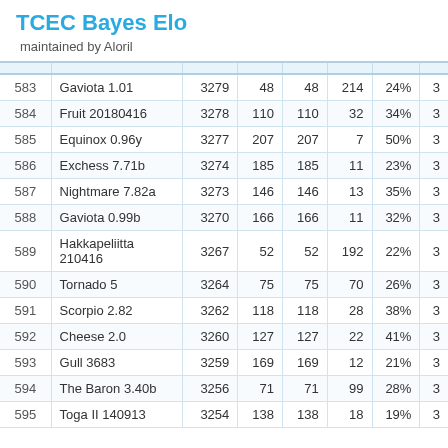TCEC Bayes Elo
maintained by Aloril
| # | Engine | Elo |  |  |  | % |  |
| --- | --- | --- | --- | --- | --- | --- | --- |
| 583 | Gaviota 1.01 | 3279 | 48 | 48 | 214 | 24% | 3 |
| 584 | Fruit 20180416 | 3278 | 110 | 110 | 32 | 34% | 3 |
| 585 | Equinox 0.96y | 3277 | 207 | 207 | 7 | 50% | 3 |
| 586 | Exchess 7.71b | 3274 | 185 | 185 | 11 | 23% | 3 |
| 587 | Nightmare 7.82a | 3273 | 146 | 146 | 13 | 35% | 3 |
| 588 | Gaviota 0.99b | 3270 | 166 | 166 | 11 | 32% | 3 |
| 589 | Hakkapeliitta 210416 | 3267 | 52 | 52 | 192 | 22% | 3 |
| 590 | Tornado 5 | 3264 | 75 | 75 | 70 | 26% | 3 |
| 591 | Scorpio 2.82 | 3262 | 118 | 118 | 28 | 38% | 3 |
| 592 | Cheese 2.0 | 3260 | 127 | 127 | 22 | 41% | 3 |
| 593 | Gull 3683 | 3259 | 169 | 169 | 12 | 21% | 3 |
| 594 | The Baron 3.40b | 3256 | 71 | 71 | 99 | 28% | 3 |
| 595 | Toga II 140913 | 3254 | 138 | 138 | 18 | 19% | 3 |